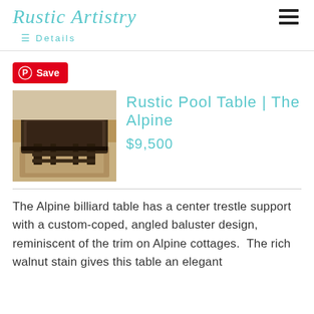Rustic Artistry
Details
[Figure (logo): Pinterest Save button with red background and white P icon]
[Figure (photo): Rustic pool table with dark walnut stain, center trestle support, on a patterned rug]
Rustic Pool Table | The Alpine
$9,500
The Alpine billiard table has a center trestle support with a custom-coped, angled baluster design, reminiscent of the trim on Alpine cottages.  The rich walnut stain gives this table an elegant